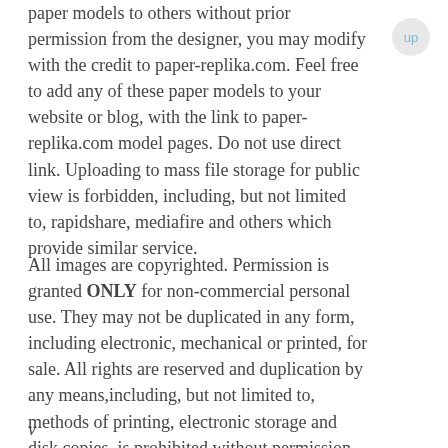paper models to others without prior permission from the designer, you may modify with the credit to paper-replika.com. Feel free to add any of these paper models to your website or blog, with the link to paper-replika.com model pages. Do not use direct link. Uploading to mass file storage for public view is forbidden, including, but not limited to, rapidshare, mediafire and others which provide similar service.
All images are copyrighted. Permission is granted ONLY for non-commercial personal use. They may not be duplicated in any form, including electronic, mechanical or printed, for sale. All rights are reserved and duplication by any means,including, but not limited to, methods of printing, electronic storage and disk copies, is prohibited without permission. If you wish to use this artwork and instructions for other than your own personal use, like for a club contest or school